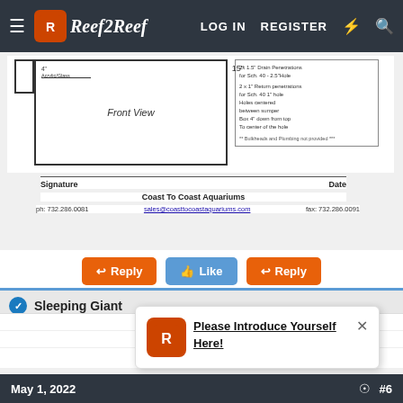LOG IN   REGISTER
[Figure (engineering-diagram): Front view engineering diagram of aquarium with tab on left side showing dimension 4" and height 15". Notes box on right listing: 2x 1.5" Drain Penetrations for Sch. 40 - 2.5"Hole; 2 x 1" Return penetrations for Sch. 40 1" hole; Holes centered between sumper; Box 4" down from top; To center of the hole. Bulkheads and Plumbing not provided.]
| Signature | Date |
| --- | --- |
Coast To Coast Aquariums
ph: 732.286.0081   sales@coasttocoastaquariums.com   fax: 732.286.0091
Reply   Like   Reply
Sleeping Giant
Please Introduce Yourself Here!
May 1, 2022   #6